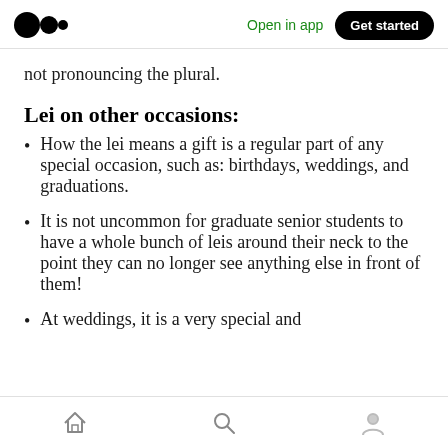Medium — Open in app | Get started
not pronouncing the plural.
Lei on other occasions:
How the lei means a gift is a regular part of any special occasion, such as: birthdays, weddings, and graduations.
It is not uncommon for graduate senior students to have a whole bunch of leis around their neck to the point they can no longer see anything else in front of them!
At weddings, it is a very special and
Home | Search | Profile